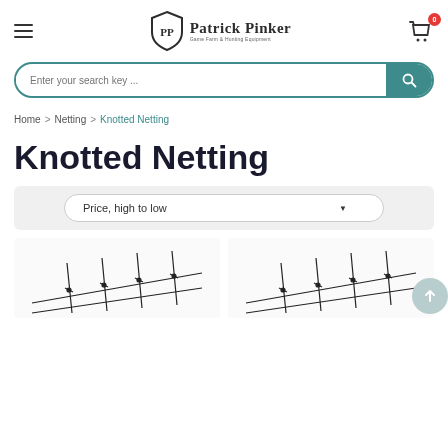Patrick Pinker — Game Farm & Hunting Equipment
Enter your search key ...
Home > Netting > Knotted Netting
Knotted Netting
Price, high to low
[Figure (illustration): Two partial product thumbnail images of knotted netting at the bottom of the page]